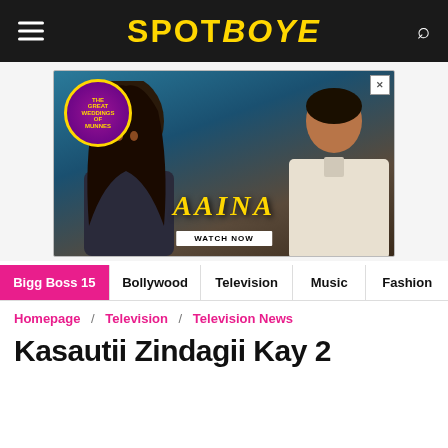SPOTBOYE
[Figure (photo): Advertisement for 'Aaina' - The Great Weddings of Munnes original series. Shows a woman and man in dramatic poses with gold decorative text 'AAINA' and 'WATCH NOW' button.]
Bigg Boss 15 | Bollywood | Television | Music | Fashion
Homepage / Television / Television News
Kasautii Zindagii Kay 2